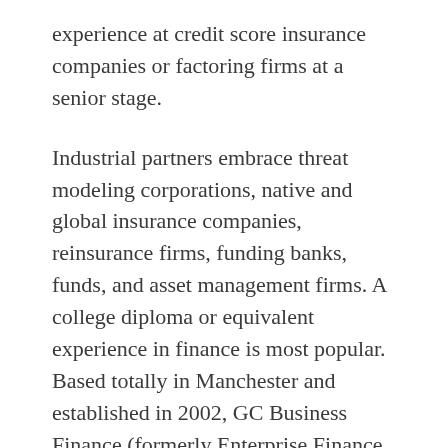experience at credit score insurance companies or factoring firms at a senior stage.
Industrial partners embrace threat modeling corporations, native and global insurance companies, reinsurance firms, funding banks, funds, and asset management firms. A college diploma or equivalent experience in finance is most popular. Based totally in Manchester and established in 2002, GC Business Finance (formerly Enterprise Finance Options) was created to supply totally different finance choices to small companies.